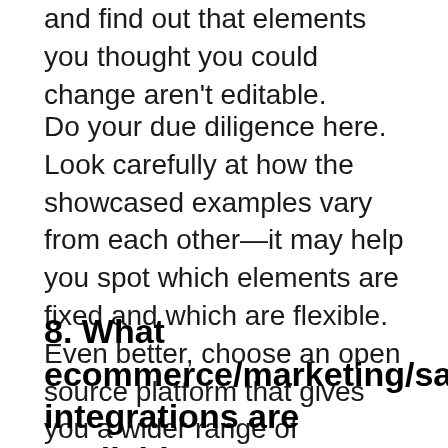and find out that elements you thought you could change aren't editable.
Do your due diligence here. Look carefully at how the showcased examples vary from each other—it may help you spot which elements are fixed and which are flexible. Even better, choose an open source platform that gives you a wider range of templates to choose from—or even the option to design your own.
8. What ecommerce/marketing/sales integrations are available?